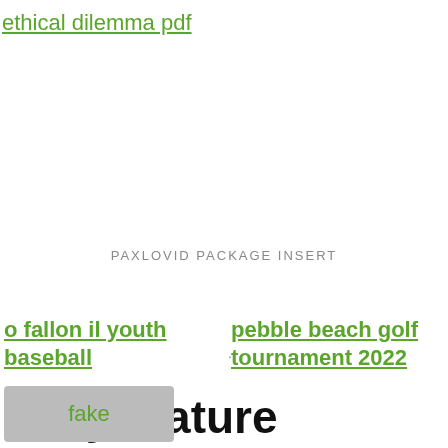ethical dilemma pdf
PAXLOVID PACKAGE INSERT
o fallon il youth baseball
pebble beach golf tournament 2022
Sexy mature women shanking ass
A busty, mature blonde in black stockings and a black negligee wants to fuck with a girlfriend.
shrine btc
fake